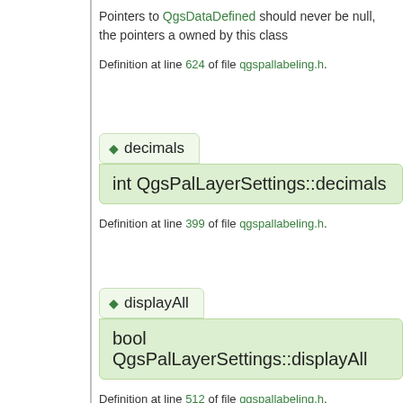Pointers to QgsDataDefined should never be null, the pointers a owned by this class
Definition at line 624 of file qgspallabeling.h.
◆ decimals
int QgsPalLayerSettings::decimals
Definition at line 399 of file qgspallabeling.h.
◆ displayAll
bool QgsPalLayerSettings::displayAll
Definition at line 512 of file qgspallabeling.h.